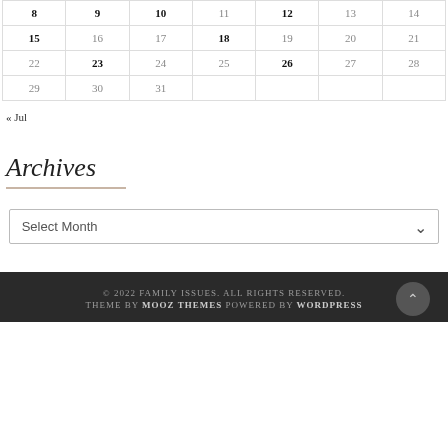| 8 | 9 | 10 | 11 | 12 | 13 | 14 |
| 15 | 16 | 17 | 18 | 19 | 20 | 21 |
| 22 | 23 | 24 | 25 | 26 | 27 | 28 |
| 29 | 30 | 31 |  |  |  |  |
« Jul
Archives
Select Month
© 2022 FAMILY ISSUES. ALL RIGHTS RESERVED. THEME BY MOOZ THEMES POWERED BY WORDPRESS